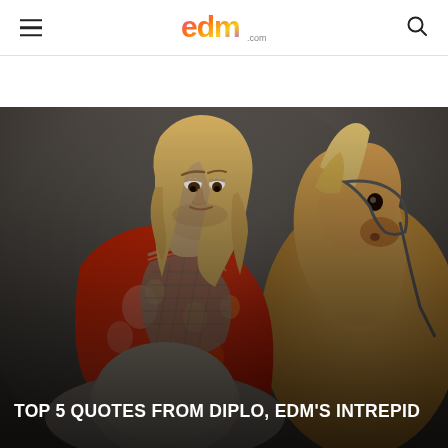EDM.com
[Figure (photo): A man with long blonde hair wearing a red floral blazer and mesh top, with a chain necklace, leaning close to a palomino horse. He holds a cowboy hat at the bottom of the frame. Dark studio background.]
TOP 5 QUOTES FROM DIPLO, EDM'S INTREPID